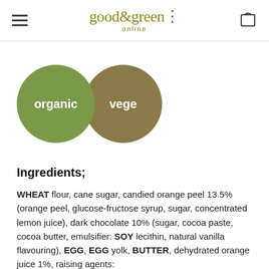[Figure (logo): Good & Green online logo with hamburger menu and cart icon]
[Figure (infographic): Two circular badges: green circle labeled 'organic' and brown/khaki circle labeled 'vege']
Ingredients;
WHEAT flour, cane sugar, candied orange peel 13.5% (orange peel, glucose-fructose syrup, sugar, concentrated lemon juice), dark chocolate 10% (sugar, cocoa paste, cocoa butter, emulsifier: SOY lecithin, natural vanilla flavouring), EGG, EGG yolk, BUTTER, dehydrated orange juice 1%, raising agents: